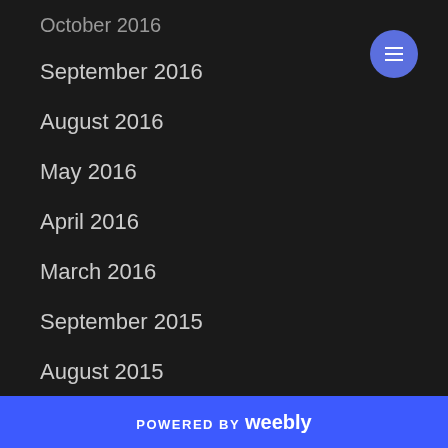October 2016
September 2016
August 2016
May 2016
April 2016
March 2016
September 2015
August 2015
July 2015
March 2015
December 2014
July 2014
POWERED BY weebly